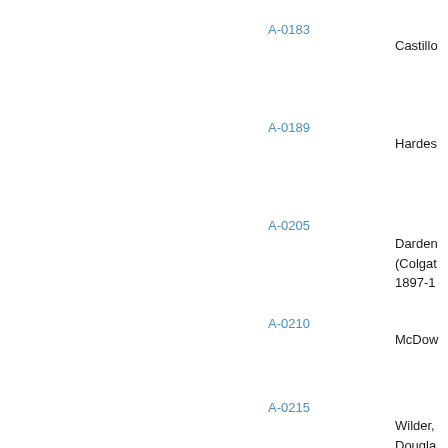A-0183
Castillo
A-0189
Hardes
A-0205
Darden (Colgate 1897-1...
A-0210
McDow
A-0215
Wilder, Dougla